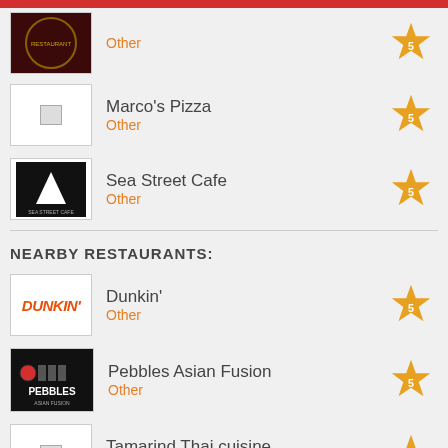Other
Marco's Pizza
Other
Sea Street Cafe
Other
NEARBY RESTAURANTS:
Dunkin'
Other
Pebbles Asian Fusion
Other
Tamarind Thai cuisine
Thai, Asian, Soup, Noodles
DiBella's Subs
Other
B.Good
Sandwiches, Burgers, American, Salads, Bowls